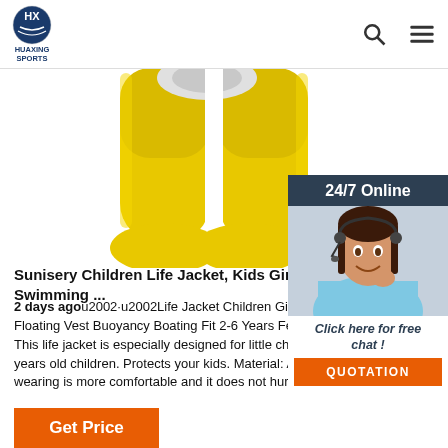Huaxing Sports - Logo and navigation with search and menu icons
[Figure (photo): Yellow children's life jacket / swim vest product photo on white background]
[Figure (photo): 24/7 Online chat overlay showing a female customer service representative wearing a headset, with 'Click here for free chat!' text and an orange QUOTATION button]
Sunisery Children Life Jacket, Kids Girl Swimming ...
2 days agou2002·u2002Life Jacket Children Girls Swim Swimming Floating Vest Buoyancy Boating Fit 2-6 Years Features: For Children. This life jacket is especially designed for little children. Fits 30-50 lb. 2-6 years old children. Protects your kids. Material: Adopt soft fabric, wearing is more comfortable and it does not hurt children's skin.
Get Price